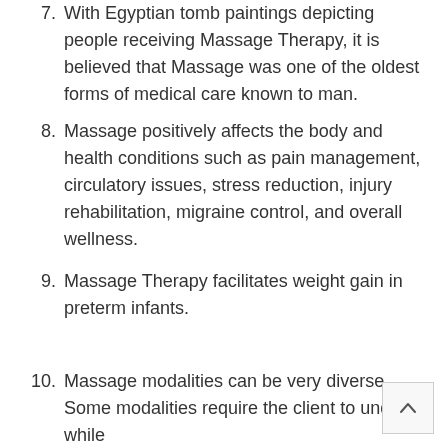7. With Egyptian tomb paintings depicting people receiving Massage Therapy, it is believed that Massage was one of the oldest forms of medical care known to man.
8. Massage positively affects the body and health conditions such as pain management, circulatory issues, stress reduction, injury rehabilitation, migraine control, and overall wellness.
9. Massage Therapy facilitates weight gain in preterm infants.
10. Massage modalities can be very diverse. Some modalities require the client to undress while